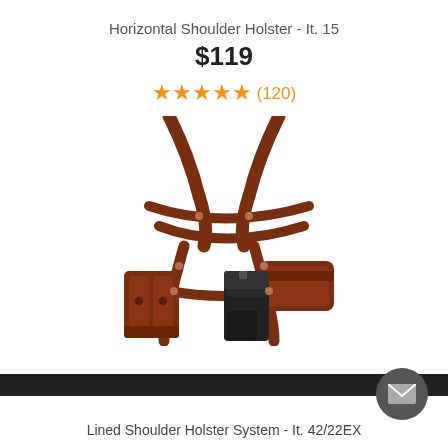Horizontal Shoulder Holster - It. 15
$119
★★★★★ (120)
[Figure (photo): Brown leather horizontal shoulder holster system with harness straps, a gun holster on the right side holding a black pistol, and a double magazine pouch on the left side.]
Lined Shoulder Holster System - It. 42/22EX